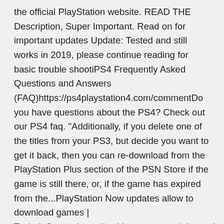the official PlayStation website. READ THE Description, Super Important. Read on for important updates Update: Tested and still works in 2019, please continue reading for basic trouble shootiPS4 Frequently Asked Questions and Answers (FAQ)https://ps4playstation4.com/commentDo you have questions about the PS4? Check out our PS4 faq. "Additionally, if you delete one of the titles from your PS3, but decide you want to get it back, then you can re-download from the PlayStation Plus section of the PSN Store if the game is still there, or, if the game has expired from the...PlayStation Now updates allow to download games | TechnieScoopshttps://techiescoops.com/playstation-now-download-gamesPlayStation Now finally allows to download the PS2 and PS4 games to PS4. The update will be rolled out for users this week. This type of program makes it difficult to keep this website up and running, since displaying advertisements is